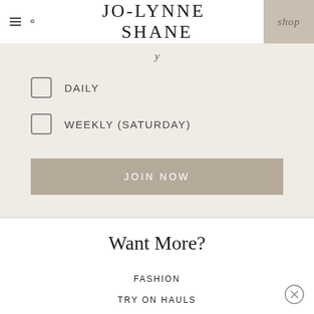JO-LYNNE SHANE
DAILY
WEEKLY (SATURDAY)
JOIN NOW
Want More?
FASHION
TRY ON HAULS
WHAT I WORE LATELY
BEAUTY